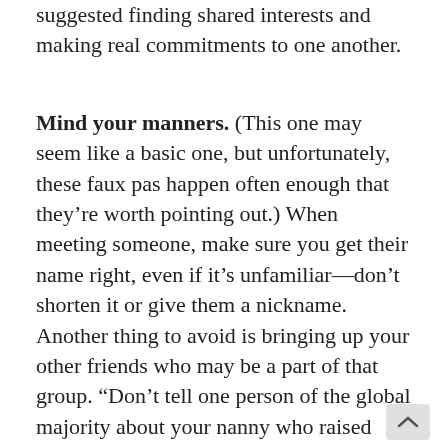suggested finding shared interests and making real commitments to one another.
Mind your manners. (This one may seem like a basic one, but unfortunately, these faux pas happen often enough that they’re worth pointing out.) When meeting someone, make sure you get their name right, even if it’s unfamiliar—don’t shorten it or give them a nickname. Another thing to avoid is bringing up your other friends who may be a part of that group. “Don’t tell one person of the global majority about your nanny who raised you, or your long-lost friend you had when you were in second grade. Put your focus on present time, on the person you are working on building a relationship with right now,” Dr. Love said. Her advice to PGM was to interrupt and, if they’re willing, educate their new white friends if they